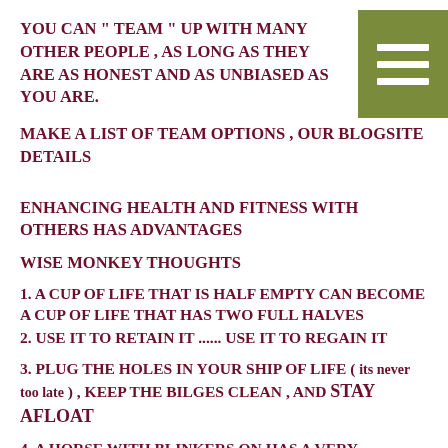YOU CAN " TEAM " UP WITH MANY OTHER PEOPLE , AS LONG AS THEY ARE AS HONEST AND AS UNBIASED AS YOU ARE.
MAKE A LIST OF TEAM OPTIONS , OUR BLOGSITE DETAILS
ENHANCING HEALTH AND FITNESS WITH OTHERS HAS ADVANTAGES
WISE MONKEY THOUGHTS
1. A CUP OF LIFE THAT IS HALF EMPTY CAN BECOME A CUP OF LIFE THAT HAS TWO FULL HALVES
2. USE IT TO RETAIN IT ...... USE IT TO REGAIN IT
3. PLUG THE HOLES IN YOUR SHIP OF LIFE ( its never too late ) , KEEP THE BILGES CLEAN , AND STAY AFLOAT
4. A HORSE WITH BLINKERS ON HAS A VERY NARROW VIEW OF LIFE
5. BE HEALTHY , OTHER PEOPLE LEARN TO LIVE WITH IT